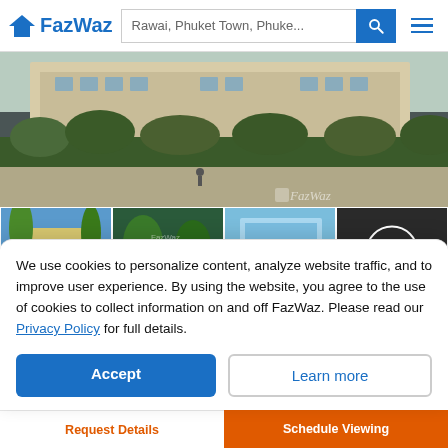FazWaz — Rawai, Phuket Town, Phuke...
[Figure (photo): Main property photo showing exterior of Babylon Sky Garden with tropical greenery and palm trees]
[Figure (photo): Thumbnail 1: Building exterior detail with blue sky]
[Figure (photo): Thumbnail 2: Pool area with tropical foliage]
[Figure (photo): Thumbnail 3: Interior/balcony view with sea view]
[Figure (photo): Thumbnail 4: 360-degree view button on dark interior background]
1 Bedroom Condo for sale at Babylon Sky Garden
Babylon Sky Garden, the perfect residential option in the Rawai area. With Contemporary style, the project delivers privacy and luxury for superior living with traditional Thai hospitality. Situated o...
We use cookies to personalize content, analyze website traffic, and to improve user experience. By using the website, you agree to the use of cookies to collect information on and off FazWaz. Please read our Privacy Policy for full details.
Accept
Learn more
Request Details
Schedule Viewing